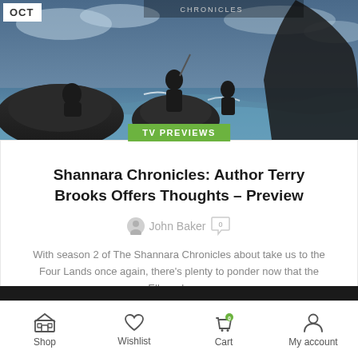[Figure (photo): Promotional image for Shannara Chronicles TV show showing characters posed on rocks with ocean waves and stormy sky. OCT label in top-left corner. Title text visible in upper portion.]
TV PREVIEWS
Shannara Chronicles: Author Terry Brooks Offers Thoughts – Preview
John Baker  0
With season 2 of The Shannara Chronicles about take us to the Four Lands once again, there's plenty to ponder now that the Ellcrys has ...
CONTINUE READING
Shop  Wishlist  Cart  My account